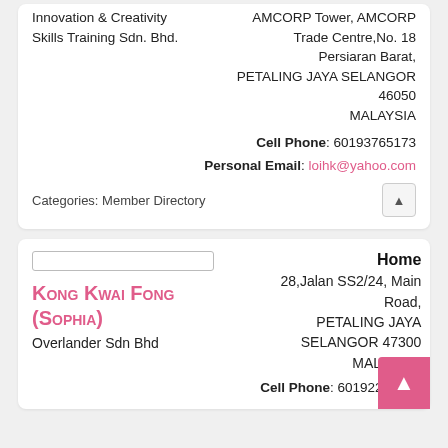Innovation & Creativity Skills Training Sdn. Bhd.
AMCORP Tower, AMCORP Trade Centre, No. 18 Persiaran Barat, PETALING JAYA SELANGOR 46050 MALAYSIA
Cell Phone: 60193765173
Personal Email: loihk@yahoo.com
Categories: Member Directory
Home
Kong Kwai Fong (Sophia)
Overlander Sdn Bhd
28, Jalan SS2/24, Main Road, PETALING JAYA SELANGOR 47300 MALAYSIA
Cell Phone: 60192280955